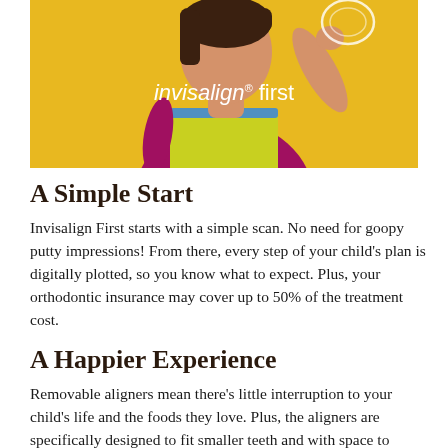[Figure (photo): Child holding a clear aligner up to the light, wearing a magenta and yellow striped t-shirt against a yellow background, with 'invisalign® first' text overlay in white]
A Simple Start
Invisalign First starts with a simple scan. No need for goopy putty impressions! From there, every step of your child's plan is digitally plotted, so you know what to expect. Plus, your orthodontic insurance may cover up to 50% of the treatment cost.
A Happier Experience
Removable aligners mean there's little interruption to your child's life and the foods they love. Plus, the aligners are specifically designed to fit smaller teeth and with space to accommodate teeth that are